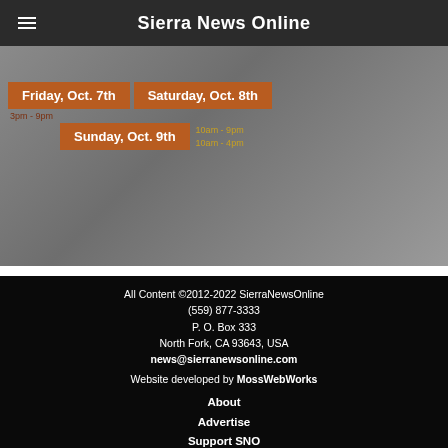Sierra News Online
[Figure (photo): Event advertisement banner showing dates: Friday, Oct. 7th 3pm-9pm; Saturday, Oct. 8th 10am-9pm; Sunday, Oct. 9th 10am-4pm]
All Content ©2012-2022 SierraNewsOnline (559) 877-3333 P. O. Box 333 North Fork, CA 93643, USA news@sierranewsonline.com Website developed by MossWebWorks About Advertise Support SNO Privacy Policy Terms of Service Disclaimer